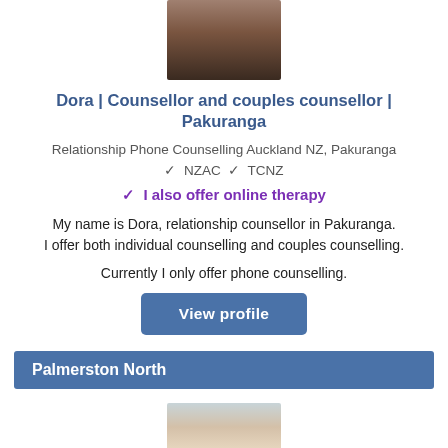[Figure (photo): Portrait photo of Dora, a counsellor, cropped at top]
Dora | Counsellor and couples counsellor | Pakuranga
Relationship Phone Counselling Auckland NZ, Pakuranga
✓ NZAC ✓ TCNZ
✓ I also offer online therapy
My name is Dora, relationship counsellor in Pakuranga. I offer both individual counselling and couples counselling.
Currently I only offer phone counselling.
View profile
Palmerston North
[Figure (photo): Portrait photo of a counsellor in Palmerston North, blonde hair with glasses on head]